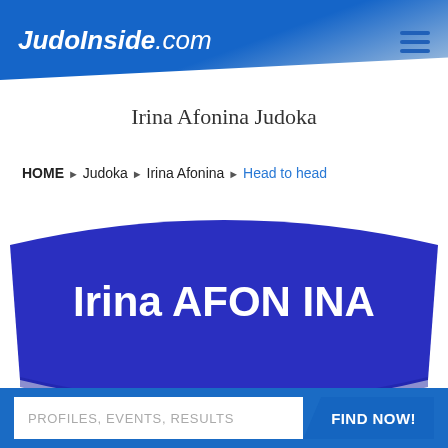JudoInside.com
Irina Afonina Judoka
HOME ▶ Judoka ▶ Irina Afonina ▶ Head to head
[Figure (illustration): Blue curved banner/badge with white text reading 'Irina AFONINA']
PROFILES, EVENTS, RESULTS   FIND NOW!